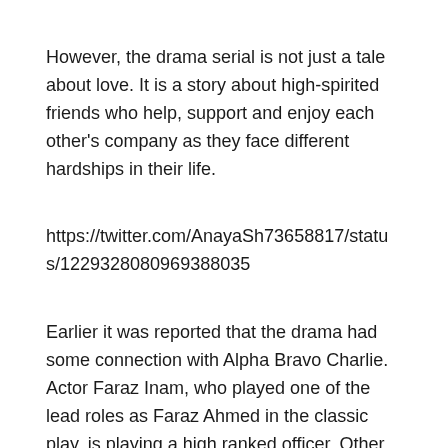However, the drama serial is not just a tale about love. It is a story about high-spirited friends who help, support and enjoy each other's company as they face different hardships in their life.
https://twitter.com/AnayaSh73658817/status/122932808​0969388035
Earlier it was reported that the drama had some connection with Alpha Bravo Charlie. Actor Faraz Inam, who played one of the lead roles as Faraz Ahmed in the classic play, is playing a high ranked officer. Other than the leads, Hajra Yamin, and Vaneeza Ahmad are also a part of the cast.
A petition against Ehd-e-Wafa in Lahore High Court